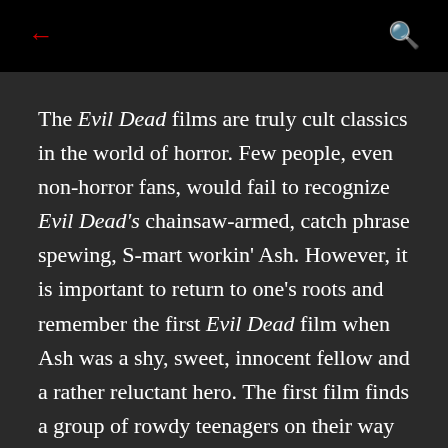← [back] [search]
The Evil Dead films are truly cult classics in the world of horror. Few people, even non-horror fans, would fail to recognize Evil Dead's chainsaw-armed, catch phrase spewing, S-mart workin' Ash. However, it is important to return to one's roots and remember the first Evil Dead film when Ash was a shy, sweet, innocent fellow and a rather reluctant hero. The first film finds a group of rowdy teenagers on their way to a cabin in the woods for a special summer